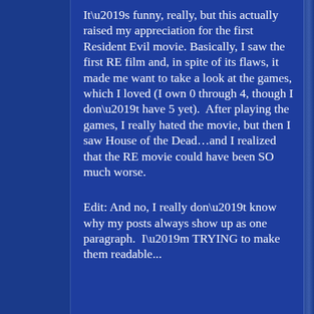It’s funny, really, but this actually raised my appreciation for the first Resident Evil movie. Basically, I saw the first RE film and, in spite of its flaws, it made me want to take a look at the games, which I loved (I own 0 through 4, though I don’t have 5 yet).  After playing the games, I really hated the movie, but then I saw House of the Dead…and I realized that the RE movie could have been SO much worse.
Edit: And no, I really don’t know why my posts always show up as one paragraph.  I’m TRYING to make them readable...